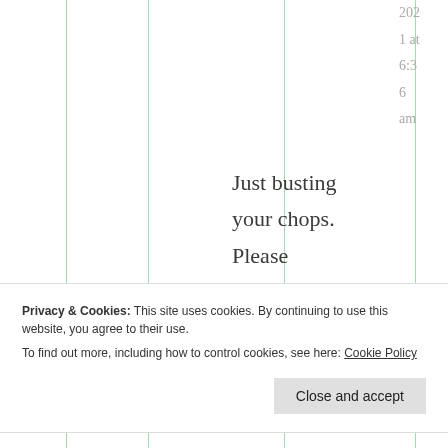2021 at 6:36 am
Just busting your chops. Please continue with
Privacy & Cookies: This site uses cookies. By continuing to use this website, you agree to their use. To find out more, including how to control cookies, see here: Cookie Policy
Close and accept